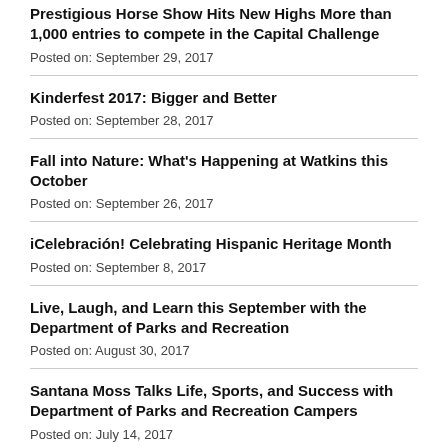Prestigious Horse Show Hits New Highs More than 1,000 entries to compete in the Capital Challenge
Posted on: September 29, 2017
Kinderfest 2017: Bigger and Better
Posted on: September 28, 2017
Fall into Nature: What's Happening at Watkins this October
Posted on: September 26, 2017
iCelebración! Celebrating Hispanic Heritage Month
Posted on: September 8, 2017
Live, Laugh, and Learn this September with the Department of Parks and Recreation
Posted on: August 30, 2017
Santana Moss Talks Life, Sports, and Success with Department of Parks and Recreation Campers
Posted on: July 14, 2017